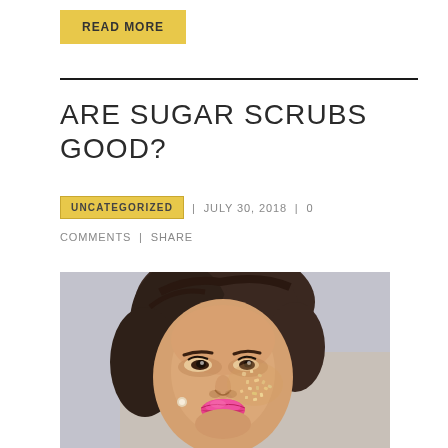READ MORE
ARE SUGAR SCRUBS GOOD?
UNCATEGORIZED  |  JULY 30, 2018  |  0 COMMENTS  |  SHARE
[Figure (photo): Portrait photo of a woman with sugar scrub crystals applied to her cheek, looking upward with pink lipstick and styled hair, against a light gray background.]